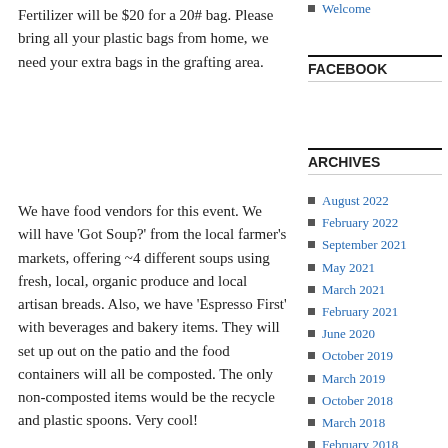Fertilizer will be $20 for a 20# bag.  Please bring all your plastic bags from home, we need your extra bags in the grafting area.
Welcome
FACEBOOK
ARCHIVES
We have food vendors for this event.  We will have ‘Got Soup?’ from the local farmer’s markets, offering ~4 different soups using fresh, local, organic produce and local artisan breads.  Also, we have ‘Espresso First’ with beverages and bakery items. They will set up out on the patio and the food containers will all be composted.  The only non-composted items would be the recycle and plastic spoons.  Very cool!
August 2022
February 2022
September 2021
May 2021
March 2021
February 2021
June 2020
October 2019
March 2019
October 2018
March 2018
February 2018